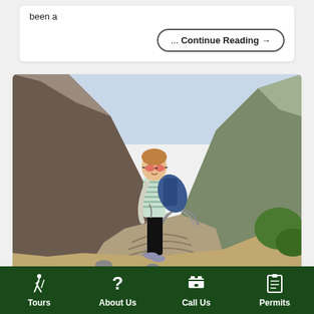been a
... Continue Reading →
[Figure (photo): A young woman with sunglasses and a striped shirt, carrying a blue jacket and backpack, standing on a trail in a mountain valley with terraced fields visible in the background (likely the Inca Trail or similar Andean hiking route).]
Tours | About Us | Call Us | Permits